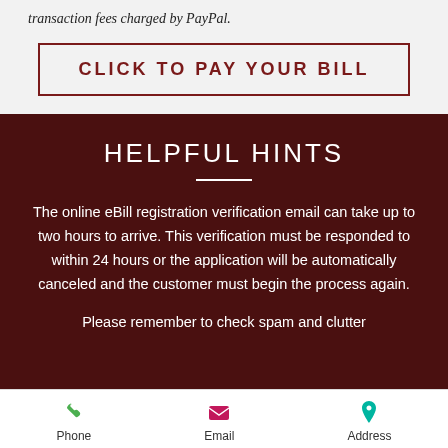transaction fees charged by PayPal.
CLICK TO PAY YOUR BILL
HELPFUL HINTS
The online eBill registration verification email can take up to two hours to arrive. This verification must be responded to within 24 hours or the application will be automatically canceled and the customer must begin the process again.
Please remember to check spam and clutter
Phone  Email  Address